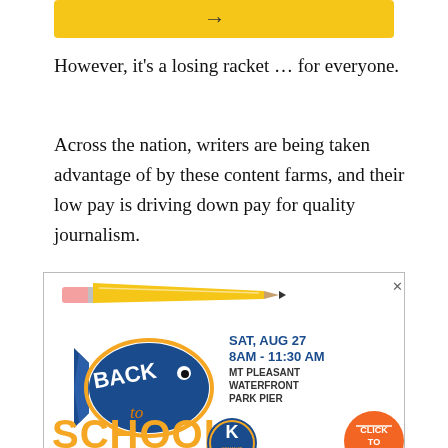[Figure (illustration): Top portion of a yellow banner/advertisement strip, partially cropped at top of page]
However, it's a losing racket ... for everyone.
Across the nation, writers are being taken advantage of by these content farms, and their low pay is driving down pay for quality journalism.
[Figure (illustration): Advertisement for Back to School Fishing Tournament: SAT, AUG 27 8AM - 11:30 AM, MT PLEASANT WATERFRONT PARK PIER. Features a pencil graphic, fish logo with BACK written on it, large orange SCHOOL text, 'to' in script, Kiwanis badge, and an orange CLICK TO REGISTER button.]